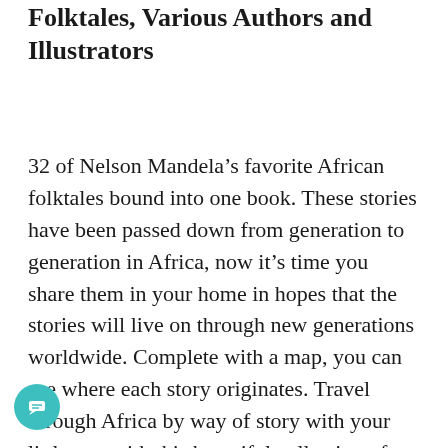Folktales, Various Authors and Illustrators
32 of Nelson Mandela’s favorite African folktales bound into one book. These stories have been passed down from generation to generation in Africa, now it’s time you share them in your home in hopes that the stories will live on through new generations worldwide. Complete with a map, you can see where each story originates. Travel through Africa by way of story with your little one with this beautiful collection of tales!